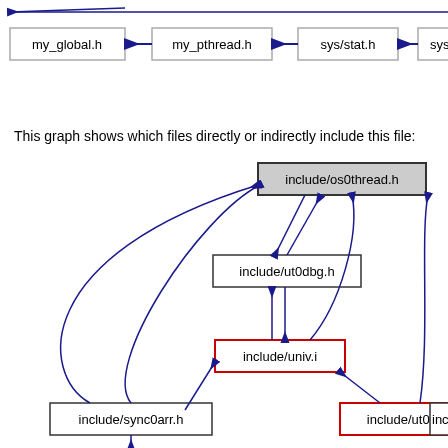[Figure (network-graph): Top portion of an include dependency graph showing header files: my_global.h, my_pthread.h, sys/stat.h, sys/mma... connected with blue arrows pointing left]
This graph shows which files directly or indirectly include this file:
[Figure (network-graph): Include dependency graph showing include/os0thread.h (gray box, center-top) with arrows from include/ut0dbg.h, include/univ.i (red border), include/sync0arr.h, include/ut0counter.h (red border), and partially visible inc... box. Bidirectional and unidirectional blue arrows connect the nodes.]